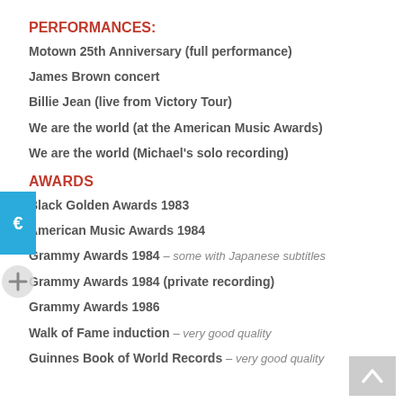PERFORMANCES:
Motown 25th Anniversary (full performance)
James Brown concert
Billie Jean (live from Victory Tour)
We are the world (at the American Music Awards)
We are the world (Michael's solo recording)
AWARDS
Black Golden Awards 1983
American Music Awards 1984
Grammy Awards 1984 – some with Japanese subtitles
Grammy Awards 1984 (private recording)
Grammy Awards 1986
Walk of Fame induction – very good quality
Guinnes Book of World Records – very good quality